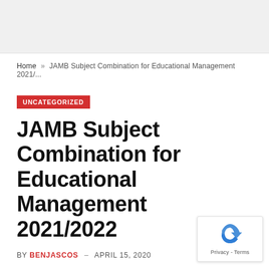Home » JAMB Subject Combination for Educational Management 2021/...
UNCATEGORIZED
JAMB Subject Combination for Educational Management 2021/2022
BY BENJASCOS – APRIL 15, 2020